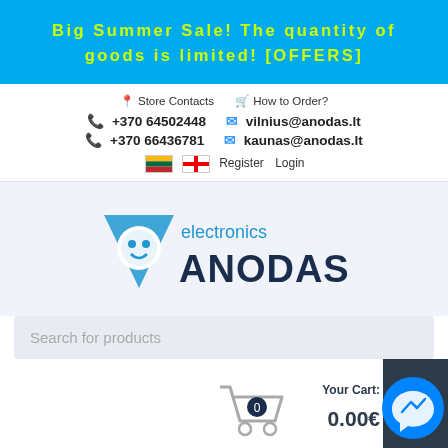Big Summer Sale! The quantity of goods is limited! [OFFERS]
Store Contacts   How to Order?
+370 64502448   vilnius@anodas.lt
+370 66436781   kaunas@anodas.lt
Register   Login
[Figure (logo): Anodas Electronics logo with robot mascot icon, 'electronics' in cyan text above bold navy 'ANODAS' wordmark]
Search for products
Your Cart:
0.00€